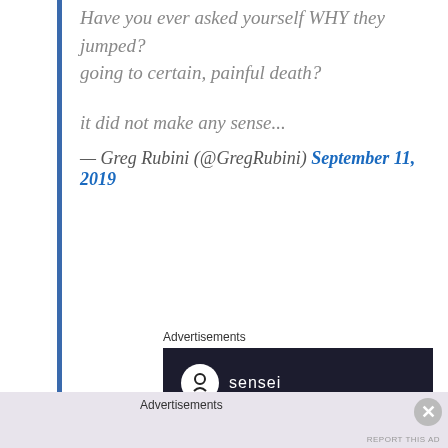Have you ever asked yourself WHY they jumped?
going to certain, painful death?

it did not make any sense...
— Greg Rubini (@GregRubini) September 11, 2019
Advertisements
[Figure (screenshot): Advertisement for Sensei plugin showing dark background with Sensei logo and text 'Launch your online' with partial text cut off below]
Advertisements